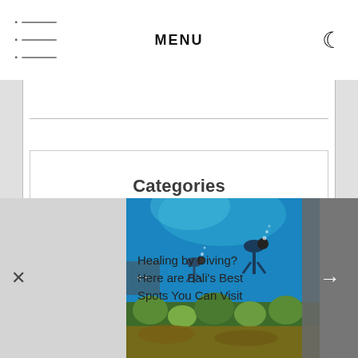MENU
Categories
Tags
Acomodation
[Figure (screenshot): Underwater scuba diving scene with divers and coral reef, blue water background]
Healing by Diving? Here are Bali's Best Spots You Can Visit